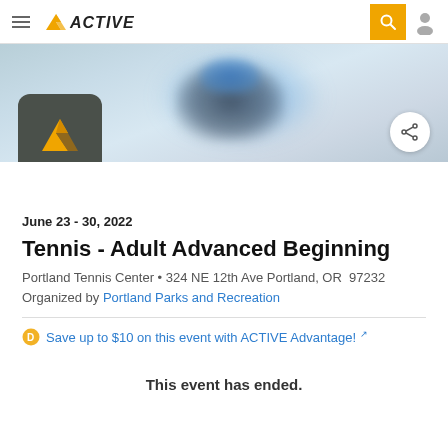ACTIVE
[Figure (photo): Blurred hero banner showing a person in blue on a tennis court]
June 23 - 30, 2022
Tennis - Adult Advanced Beginning
Portland Tennis Center • 324 NE 12th Ave Portland, OR  97232
Organized by Portland Parks and Recreation
Save up to $10 on this event with ACTIVE Advantage!
This event has ended.